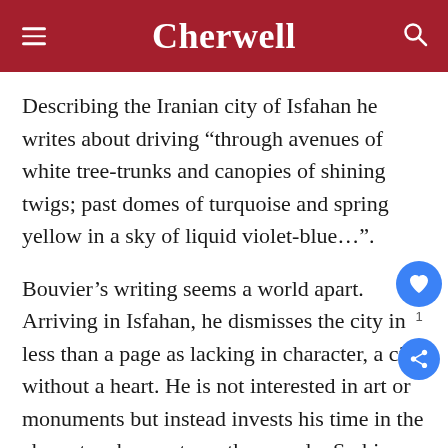Cherwell
Describing the Iranian city of Isfahan he writes about driving “through avenues of white tree-trunks and canopies of shining twigs; past domes of turquoise and spring yellow in a sky of liquid violet-blue…”.
Bouvier’s writing seems a world apart. Arriving in Isfahan, he dismisses the city in less than a page as lacking in character, a city without a heart. He is not interested in art or monuments but instead invests his time in the characters he meets on the road – Serbian gypsies, prisoners of a Kurdish jail, and gossiping truck drivers weaving tales in an inn